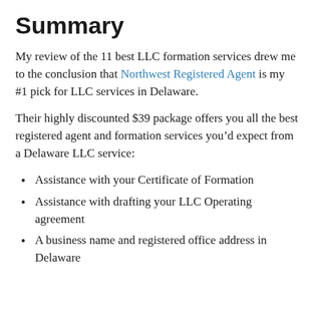Summary
My review of the 11 best LLC formation services drew me to the conclusion that Northwest Registered Agent is my #1 pick for LLC services in Delaware.
Their highly discounted $39 package offers you all the best registered agent and formation services you’d expect from a Delaware LLC service:
Assistance with your Certificate of Formation
Assistance with drafting your LLC Operating agreement
A business name and registered office address in Delaware